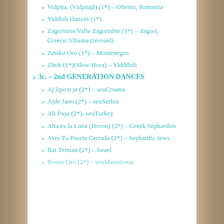Vulpița, (Vulpiuță) (1*) – Oltenia, Romania
Yiddish Dances (1*)
Zagorisios/Valle Zagorishte (1*) – Zagori, Greece/Albania (revised)
Zetsko Oro (1*) – Montenegro
Zhok (1*)(Slow Hora) – Yidddish
3c. – 2nd GENERATION DANCES
Aj lipo ti je (2*) – seuCroatia
Ajde Jano (2*) – seuSerbia
Ali Paşa (2*)- seuTurkey
Alta es la Luna (Horon) (2*) – Greek Sephardim
Avre Tu Puerta Cerrada (2*) – Sephardic Jews
Bat Teiman (2*) – Israel
Bosno Oro (2*) – seuMacedonia